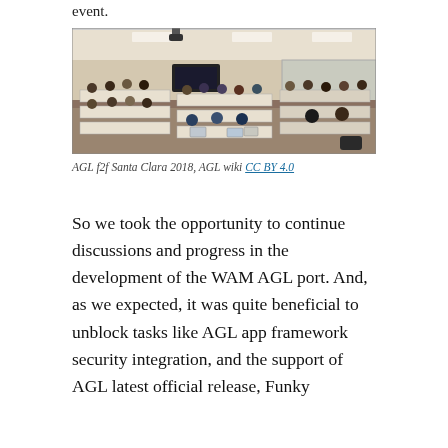event.
[Figure (photo): Group of people seated at conference tables in a large meeting room with laptops, during an AGL face-to-face meeting in Santa Clara 2018.]
AGL f2f Santa Clara 2018, AGL wiki CC BY 4.0
So we took the opportunity to continue discussions and progress in the development of the WAM AGL port. And, as we expected, it was quite beneficial to unblock tasks like AGL app framework security integration, and the support of AGL latest official release, Funky